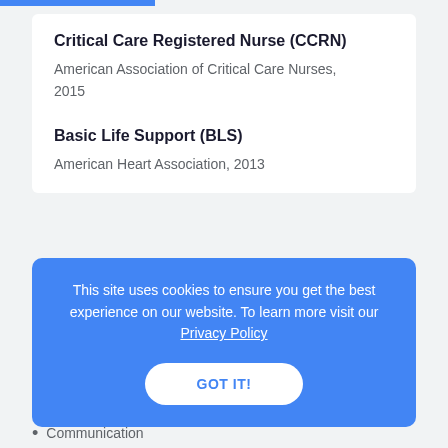Critical Care Registered Nurse (CCRN)
American Association of Critical Care Nurses, 2015
Basic Life Support (BLS)
American Heart Association, 2013
This site uses cookies to ensure you get the best experience on our website. To learn more visit our Privacy Policy
GOT IT!
Communication